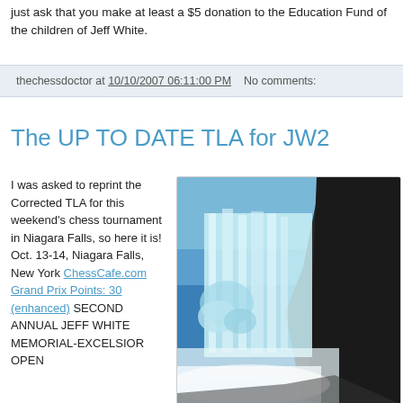just ask that you make at least a $5 donation to the Education Fund of the children of Jeff White.
thechessdoctor at 10/10/2007 06:11:00 PM   No comments:
The UP TO DATE TLA for JW2
I was asked to reprint the Corrected TLA for this weekend's chess tournament in Niagara Falls, so here it is! Oct. 13-14, Niagara Falls, New York ChessCafe.com Grand Prix Points: 30 (enhanced) SECOND ANNUAL JEFF WHITE MEMORIAL-EXCELSIOR OPEN
[Figure (photo): Photo of Niagara Falls showing waterfall with mist, ice, and dark rocky cliff on the right side, blue sky in background]